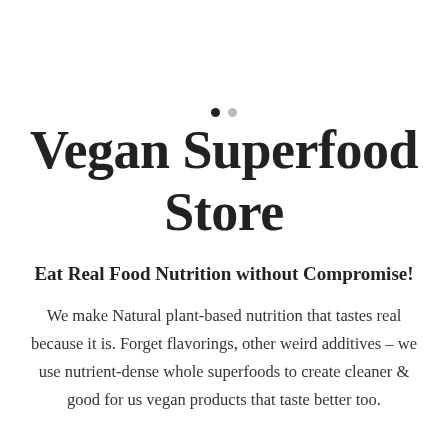Vegan Superfood Store
Eat Real Food Nutrition without Compromise!
We make Natural plant-based nutrition that tastes real because it is. Forget flavorings, other weird additives – we use nutrient-dense whole superfoods to create cleaner & good for us vegan products that taste better too.